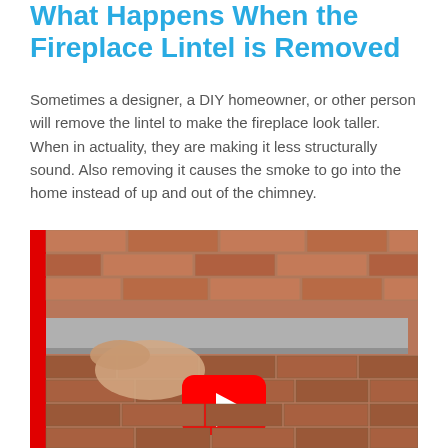What Happens When the Fireplace Lintel is Removed
Sometimes a designer, a DIY homeowner, or other person will remove the lintel to make the fireplace look taller. When in actuality, they are making it less structurally sound. Also removing it causes the smoke to go into the home instead of up and out of the chimney.
[Figure (screenshot): YouTube video thumbnail showing a person's hand working on a fireplace lintel area with red brick wall and a grey concrete lintel beam visible. A red YouTube play button icon is overlaid in the center of the image. A red vertical bar appears on the left edge.]